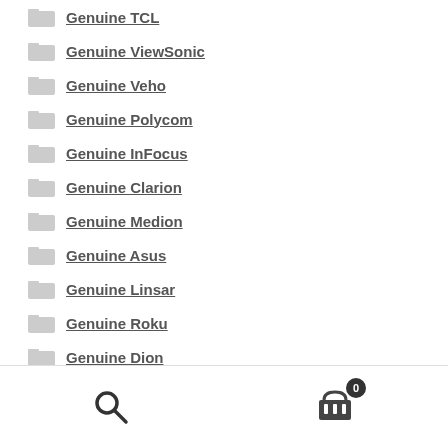Genuine TCL
Genuine ViewSonic
Genuine Veho
Genuine Polycom
Genuine InFocus
Genuine Clarion
Genuine Medion
Genuine Asus
Genuine Linsar
Genuine Roku
Genuine Dion
Genuine LiO (partial)
Search | Cart (0)